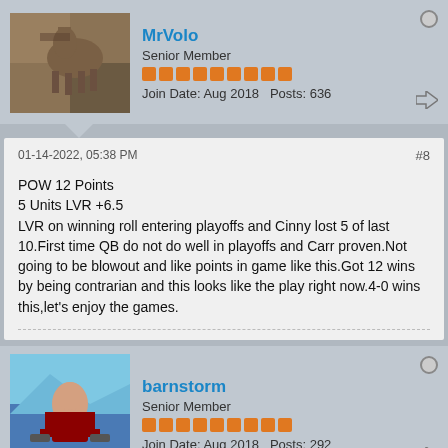MrVolo
Senior Member
Join Date: Aug 2018   Posts: 636
01-14-2022, 05:38 PM
#8
POW 12 Points
5 Units LVR +6.5
LVR on winning roll entering playoffs and Cinny lost 5 of last 10.First time QB do not do well in playoffs and Carr proven.Not going to be blowout and like points in game like this.Got 12 wins by being contrarian and this looks like the play right now.4-0 wins this,let's enjoy the games.
barnstorm
Senior Member
Join Date: Aug 2018   Posts: 292
01-14-2022, 08:05 PM
#9
NFL P.O.W. 10 points